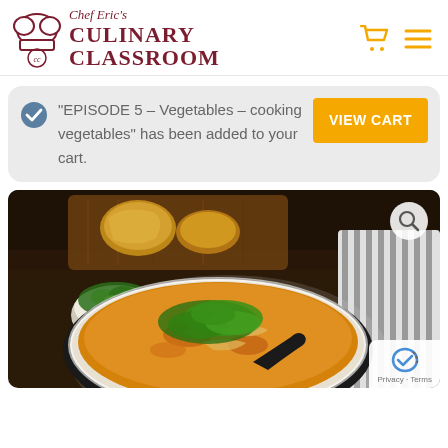[Figure (logo): Chef Eric's Culinary Classroom logo with chef hat icon and dark red serif text]
"EPISODE 5 – Vegetables – cooking vegetables" has been added to your cart.
[Figure (photo): A bowl of yellow/orange vegetable soup garnished with fresh cilantro/parsley, with bread and herbs in the background on a dark wooden board. A magnifying glass search icon is shown in top right. A reCAPTCHA widget appears bottom right with Privacy · Terms label.]